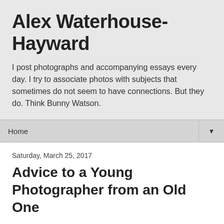Alex Waterhouse-Hayward
I post photographs and accompanying essays every day. I try to associate photos with subjects that sometimes do not seem to have connections. But they do. Think Bunny Watson.
Home
Saturday, March 25, 2017
Advice to a Young Photographer from an Old One